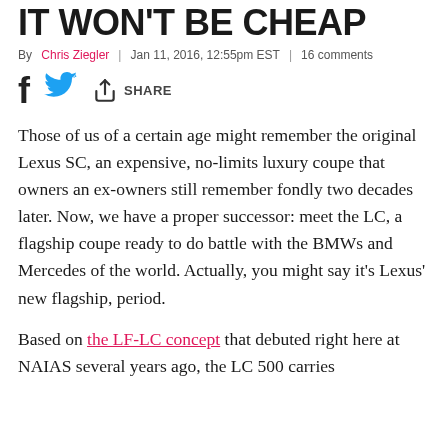IT WON'T BE CHEAP
By Chris Ziegler | Jan 11, 2016, 12:55pm EST | 16 comments
Those of us of a certain age might remember the original Lexus SC, an expensive, no-limits luxury coupe that owners an ex-owners still remember fondly two decades later. Now, we have a proper successor: meet the LC, a flagship coupe ready to do battle with the BMWs and Mercedes of the world. Actually, you might say it's Lexus' new flagship, period.
Based on the LF-LC concept that debuted right here at NAIAS several years ago, the LC 500 carries